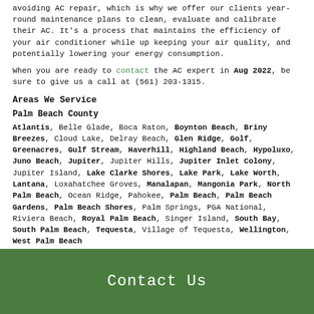avoiding AC repair, which is why we offer our clients year-round maintenance plans to clean, evaluate and calibrate their AC. It's a process that maintains the efficiency of your air conditioner while up keeping your air quality, and potentially lowering your energy consumption.
When you are ready to contact the AC expert in Aug 2022, be sure to give us a call at (561) 203-1315.
Areas We Service
Palm Beach County
Atlantis, Belle Glade, Boca Raton, Boynton Beach, Briny Breezes, Cloud Lake, Delray Beach, Glen Ridge, Golf, Greenacres, Gulf Stream, Haverhill, Highland Beach, Hypoluxo, Juno Beach, Jupiter, Jupiter Hills, Jupiter Inlet Colony, Jupiter Island, Lake Clarke Shores, Lake Park, Lake Worth, Lantana, Loxahatchee Groves, Manalapan, Mangonia Park, North Palm Beach, Ocean Ridge, Pahokee, Palm Beach, Palm Beach Gardens, Palm Beach Shores, Palm Springs, PGA National, Riviera Beach, Royal Palm Beach, Singer Island, South Bay, South Palm Beach, Tequesta, Village of Tequesta, Wellington, West Palm Beach
Contact Us